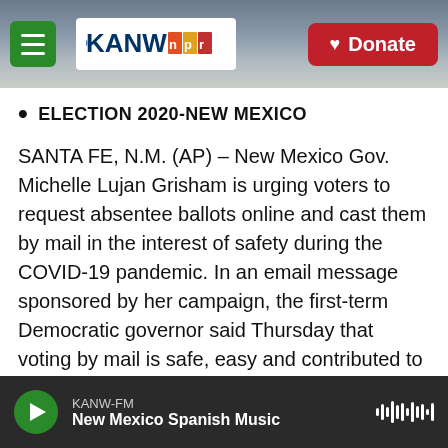[Figure (screenshot): KANW NPR radio website header with mountain background photo. Contains hamburger menu (green), KANW NPR logo, and red Donate button.]
ELECTION 2020-NEW MEXICO
SANTA FE, N.M. (AP) – New Mexico Gov. Michelle Lujan Grisham is urging voters to request absentee ballots online and cast them by mail in the interest of safety during the COVID-19 pandemic. In an email message sponsored by her campaign, the first-term Democratic governor said Thursday that voting by mail is safe, easy and contributed to record turnout across New Mexico in the June primary. State election officials have expressed confidence in the ability of the U.S. Postal Service to handle an increased volume of absentee ballots.
KANW-FM — New Mexico Spanish Music